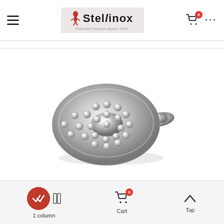Stellinox — Fabricant français depuis 1955
[Figure (photo): Stainless steel circular diffuser/shower head plate with multiple raised dome-shaped bumps arranged in concentric circles, with a flat handle/tab on the right side. The item is polished and reflective.]
1 column  Cart 0  Top